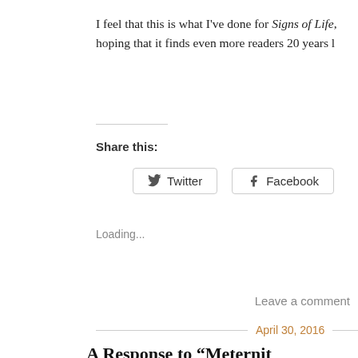I feel that this is what I've done for Signs of Life, hoping that it finds even more readers 20 years l
Share this:
Twitter   Facebook
Loading...
Leave a comment
April 30, 2016
A Response to “Meternit… Meghann Foye…